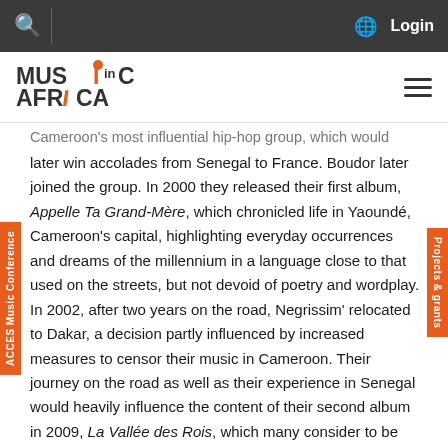Music In Africa website header with search, globe/language, and Login navigation
[Figure (logo): Music in Africa logo with orange dot above letter i]
later win accolades from Senegal to France. Boudor later joined the group. In 2000 they released their first album, Appelle Ta Grand-Mère, which chronicled life in Yaoundé, Cameroon's capital, highlighting everyday occurrences and dreams of the millennium in a language close to that used on the streets, but not devoid of poetry and wordplay. In 2002, after two years on the road, Negrissim' relocated to Dakar, a decision partly influenced by increased measures to censor their music in Cameroon. Their journey on the road as well as their experience in Senegal would heavily influence the content of their second album in 2009, La Vallée des Rois, which many consider to be the quintessential Negrissim' release. Their 2012 album, The Bantoo Plan, Vol. 1, highlights their eclectic, experimental